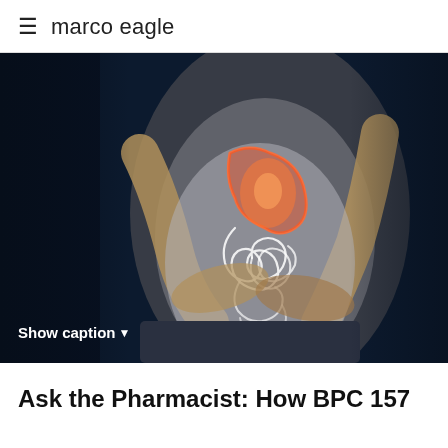≡  marco eagle
[Figure (photo): Person holding their abdomen with both hands, with a glowing anatomical illustration of a stomach and intestines overlaid on their midsection. The background is dark blue/black. A 'Show caption ▼' button appears at the bottom left of the image.]
Show caption▼
Ask the Pharmacist: How BPC 157